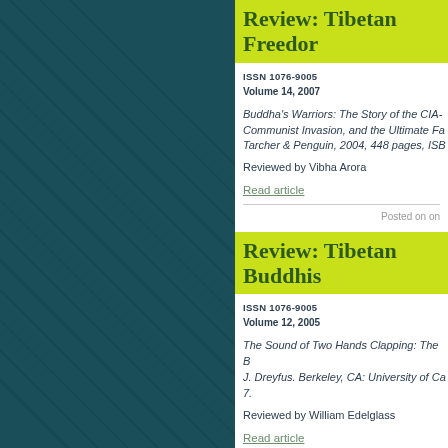[Figure (illustration): Dark teal background panel with diagonal line texture pattern]
Review: Tibetan Freedom...
ISSN 1076-9005
Volume 14, 2007
Buddha's Warriors: The Story of the CIA-... Communist Invasion, and the Ultimate Fa... Tarcher & Penguin, 2004, 448 pages, ISB...
Reviewed by Vibha Arora
Read article
Posted on on
Review: Tibetan Buddhis...
ISSN 1076-9005
Volume 12, 2005
The Sound of Two Hands Clapping: The B... J. Dreyfus. Berkeley, CA: University of Ca... 7.
Reviewed by William Edelglass
Read article